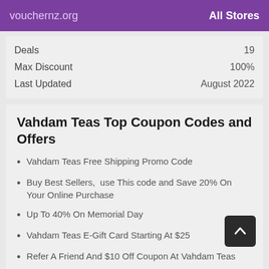vouchernz.org   All Stores
| Deals | 19 |
| Max Discount | 100% |
| Last Updated | August 2022 |
Vahdam Teas Top Coupon Codes and Offers
Vahdam Teas Free Shipping Promo Code
Buy Best Sellers,  use This code and Save 20% On Your Online Purchase
Up To 40% On Memorial Day
Vahdam Teas E-Gift Card Starting At $25
Refer A Friend And $10 Off Coupon At Vahdam Teas